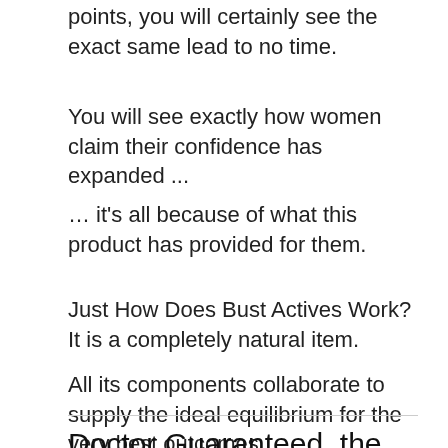points, you will certainly see the exact same lead to no time.
You will see exactly how women claim their confidence has expanded ...
… it's all because of what this product has provided for them.
Just How Does Bust Actives Work?
It is a completely natural item.
All its components collaborate to supply the ideal equilibrium for the very best outcomes.
Doctor Guaranteed, the